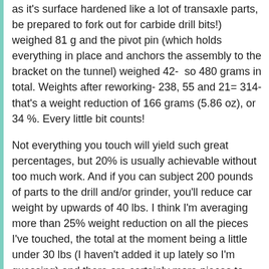as it's surface hardened like a lot of transaxle parts, be prepared to fork out for carbide drill bits!) weighed 81 g and the pivot pin (which holds everything in place and anchors the assembly to the bracket on the tunnel) weighed 42- so 480 grams in total. Weights after reworking- 238, 55 and 21= 314- that's a weight reduction of 166 grams (5.86 oz), or 34 %. Every little bit counts!
Not everything you touch will yield such great percentages, but 20% is usually achievable without too much work. And if you can subject 200 pounds of parts to the drill and/or grinder, you'll reduce car weight by upwards of 40 lbs. I think I'm averaging more than 25% weight reduction on all the pieces I've touched, the total at the moment being a little under 30 lbs (I haven't added it up lately so I'm guessing) and there are certainly more pieces to look at.
When Porsche built the '67 911R there was an